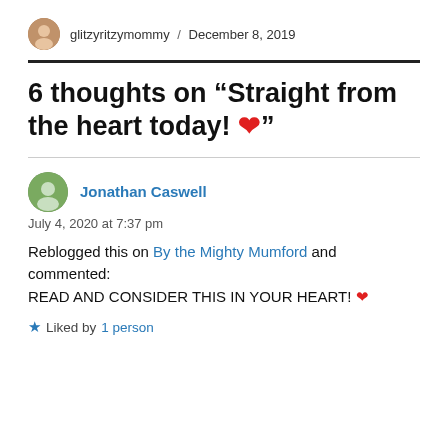glitzyritzymommy / December 8, 2019
6 thoughts on “Straight from the heart today! ❤”
Jonathan Caswell
July 4, 2020 at 7:37 pm
Reblogged this on By the Mighty Mumford and commented:
READ AND CONSIDER THIS IN YOUR HEART! ❤
★ Liked by 1 person